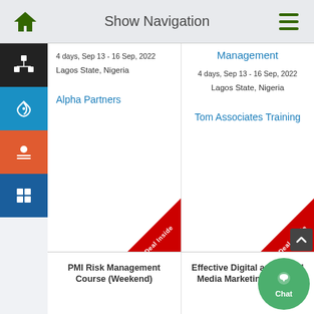Show Navigation
4 days, Sep 13 - 16 Sep, 2022
Lagos State, Nigeria
Alpha Partners
Management
4 days, Sep 13 - 16 Sep, 2022
Lagos State, Nigeria
Tom Associates Training
PMI Risk Management Course (Weekend)
Effective Digital and Social Media Marketing Course